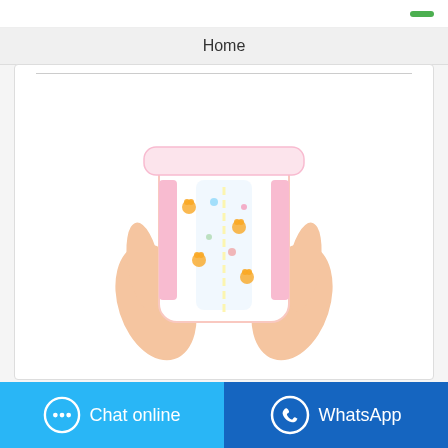Home
[Figure (photo): Two hands holding a baby diaper/nappy with teddy bear print and pink accents, shown from the back.]
Chat online
WhatsApp